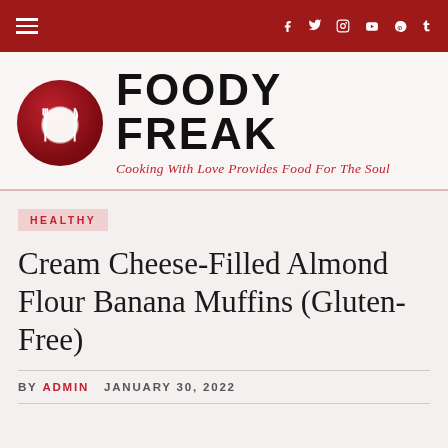FOODY FREAK navigation bar with social icons
[Figure (logo): Foody Freak logo with red circle containing fork, plate, spoon icon and bold text FOODY FREAK with subtitle Cooking With Love Provides Food For The Soul]
HEALTHY
Cream Cheese-Filled Almond Flour Banana Muffins (Gluten-Free)
BY ADMIN   JANUARY 30, 2022